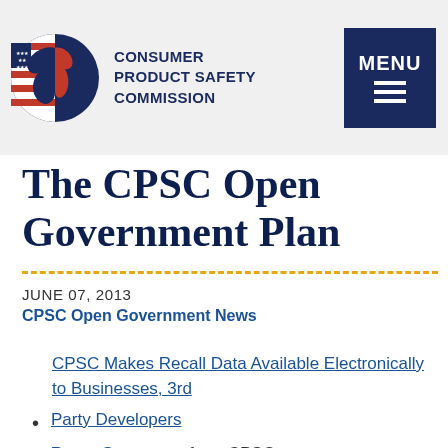United States Consumer Product Safety Commission — MENU
The CPSC Open Government Plan
JUNE 07, 2013
CPSC Open Government News
CPSC Makes Recall Data Available Electronically to Businesses, 3rd Party Developers
Press Statement from CPSC